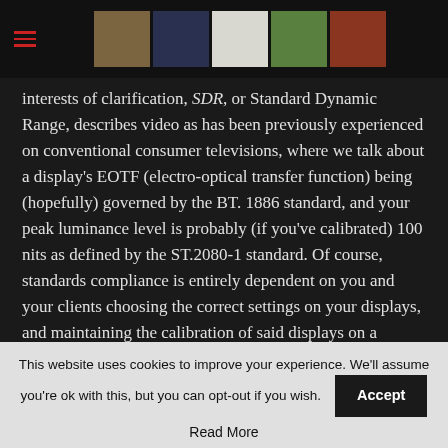[hamburger menu icon] [header image strip]
interests of clarification, SDR, or Standard Dynamic Range, describes video as has been previously experienced on conventional consumer televisions, where we talk about a display’s EOTF (electro-optical transfer function) being (hopefully) governed by the BT. 1886 standard, and your peak luminance level is probably (if you’ve calibrated) 100 nits as defined by the ST.2080-1 standard. Of course, standards compliance is entirely dependent on you and your clients choosing the correct settings on your displays, and maintaining the calibration of said displays on a regular-enough basis.
This website uses cookies to improve your experience. We’ll assume you’re ok with this, but you can opt-out if you wish. Accept
Read More